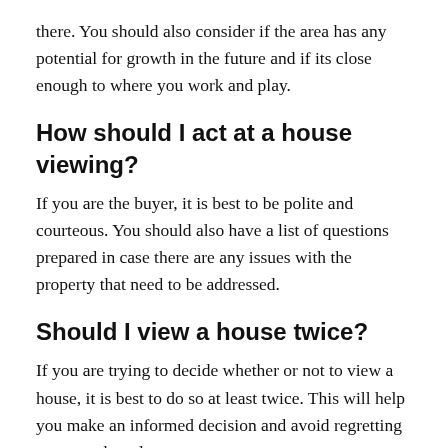there. You should also consider if the area has any potential for growth in the future and if its close enough to where you work and play.
How should I act at a house viewing?
If you are the buyer, it is best to be polite and courteous. You should also have a list of questions prepared in case there are any issues with the property that need to be addressed.
Should I view a house twice?
If you are trying to decide whether or not to view a house, it is best to do so at least twice. This will help you make an informed decision and avoid regretting your purchase later on.
Who pays for closing costs?